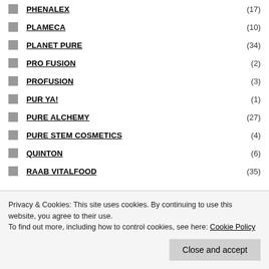PHENALEX (17)
PLAMECA (10)
PLANET PURE (34)
PRO FUSION (2)
PROFUSION (3)
PUR YA! (1)
PURE ALCHEMY (27)
PURE STEM COSMETICS (4)
QUINTON (6)
RAAB VITALFOOD (35)
Privacy & Cookies: This site uses cookies. By continuing to use this website, you agree to their use. To find out more, including how to control cookies, see here: Cookie Policy